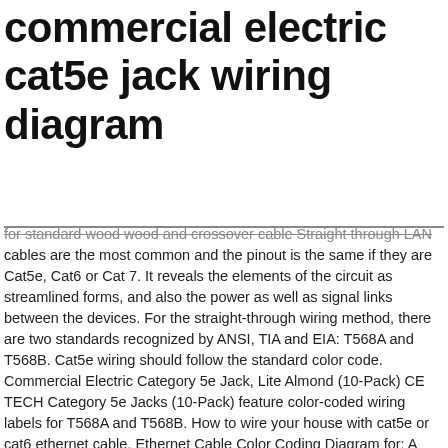commercial electric cat5e jack wiring diagram
for standard wood wood and crossover cable Straight through LAN cables are the most common and the pinout is the same if they are Cat5e, Cat6 or Cat 7. It reveals the elements of the circuit as streamlined forms, and also the power as well as signal links between the devices. For the straight-through wiring method, there are two standards recognized by ANSI, TIA and EIA: T568A and T568B. Cat5e wiring should follow the standard color code. Commercial Electric Category 5e Jack, Lite Almond (10-Pack) CE TECH Category 5e Jacks (10-Pack) feature color-coded wiring labels for T568A and T568B. How to wire your house with cat5e or cat6 ethernet cable. Ethernet Cable Color Coding Diagram for: A principal advantage of keystone connectors is their versatility. Cat5 Wiring Diagram Printable, Cat5e Wiring Diagram PDF, Cat6 Wiring Diagrams, RJ45 Wiring-Diagram, B Wiring Diagram, Cat5e Wall. https://schematron.org/cat5e-wiring-diagram-wall-plate.html You may be capable to understand specifically when the tasks should be finished, which makes it much simpler for you to properly control your time. A wide variety of cat5e wiring diagram options are available to you. There are 39 suppliers who sells cat5e wiring diagram on